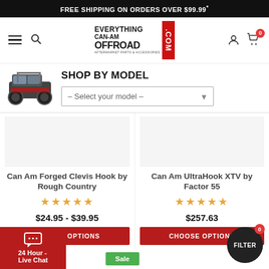FREE SHIPPING ON ORDERS OVER $99.99*
[Figure (logo): Everything Can-Am Offroad .com logo with red vertical bar]
SHOP BY MODEL
– Select your model –
Can Am Forged Clevis Hook by Rough Country
★★★★★
$24.95 - $39.95
CHOOSE OPTIONS
Can Am UltraHook XTV by Factor 55
★★★★★
$257.63
CHOOSE OPTIONS
24 Hour - Live Chat
FILTER
Sale